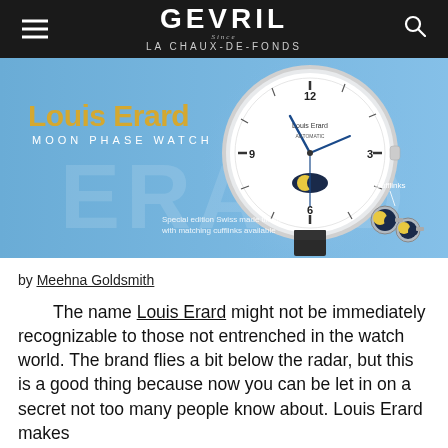GEVRIL LA CHAUX-DE-FONDS
[Figure (photo): Louis Erard Moon Phase Watch advertisement banner showing a watch with black leather strap and moon phase complication on a blue background, with cufflinks visible in the lower right. Text reads 'Louis Erard MOON PHASE WATCH' and 'Special edition Swiss made timepiece with matching cufflinks available'. Cufflinks label points to two silver and blue moon-themed cufflinks.]
by Meehna Goldsmith
The name Louis Erard might not be immediately recognizable to those not entrenched in the watch world. The brand flies a bit below the radar, but this is a good thing because now you can be let in on a secret not too many people know about. Louis Erard makes